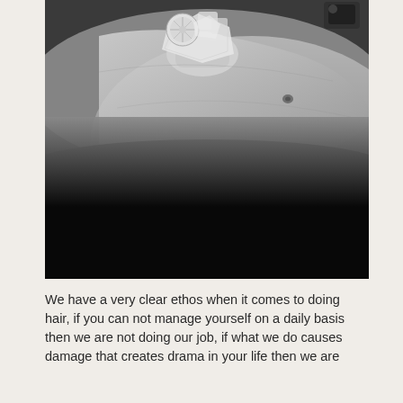[Figure (photo): Black and white photograph showing a hand holding ice cubes with a lemon slice above a blurred body, with dark lower portion.]
We have a very clear ethos when it comes to doing hair, if you can not manage yourself on a daily basis then we are not doing our job, if what we do causes damage that creates drama in your life then we are